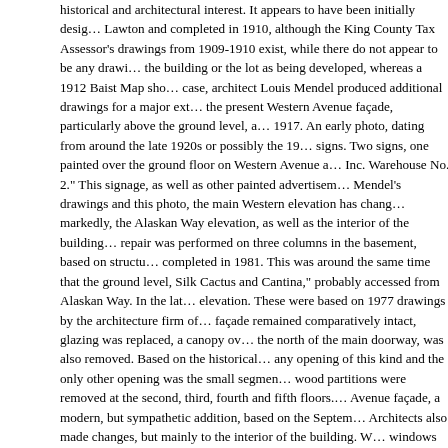historical and architectural interest. It appears to have been initially designed by Lawton and completed in 1910, although the King County Tax Assessor's drawings from 1909-1910 exist, while there do not appear to be any drawings showing the building or the lot as being developed, whereas a 1912 Baist Map shows the building. In any case, architect Louis Mendel produced additional drawings for a major exterior remodel of the present Western Avenue façade, particularly above the ground level, and this was done in 1917. An early photo, dating from around the late 1920s or possibly the 1930s, shows signs. Two signs, one painted over the ground floor on Western Avenue and the other read "Schwabacher Inc. Warehouse No. 2." This signage, as well as other painted advertisements, suggest that, based on Mendel's drawings and this photo, the main Western elevation has changed little. Changed more markedly, the Alaskan Way elevation, as well as the interior of the building. Structural repair was performed on three columns in the basement, based on structural drawings, and this was completed in 1981. This was around the same time that the ground level, then a restaurant called "Silk Cactus and Cantina," probably accessed from Alaskan Way. In the later 1970s, changes were made to the elevation. These were based on 1977 drawings by the architecture firm of NBBJ. The western façade remained comparatively intact, glazing was replaced, a canopy over an entrance to the north of the main doorway, was also removed. Based on the historical drawings, there is no record of any opening of this kind and the only other opening was the small segment arch. The interior wood partitions were removed at the second, third, fourth and fifth floors. Some changes to the Western Avenue façade, a modern, but sympathetic addition, based on the September 2000 permit drawings. Architects also made changes, but mainly to the interior of the building. We note that although new windows have been added to the southern elevation, the important detailing has been retained. Louis Mendel was an important architect, who made major contributions to Seattle. Also important is Saunders and Lawton, another Seattle architecture firm of note. Also, the building's association with the Schwabacher Family. Finally, the building and particularly its eastern façade is of significance. In the opinion of this surveyor, the building, although not necessarily eligible for listing, contributes to Western Avenue and the larger Central Waterfront area. Following is additional